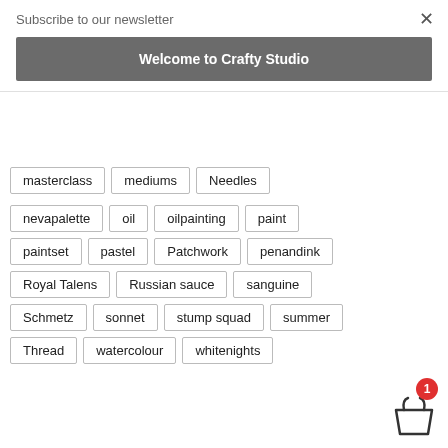Subscribe to our newsletter
Welcome to Crafty Studio
masterclass
mediums
Needles
nevapalette
oil
oilpainting
paint
paintset
pastel
Patchwork
penandink
Royal Talens
Russian sauce
sanguine
Schmetz
sonnet
stump squad
summer
Thread
watercolour
whitenights
[Figure (infographic): Shopping cart icon with red badge showing count 1]